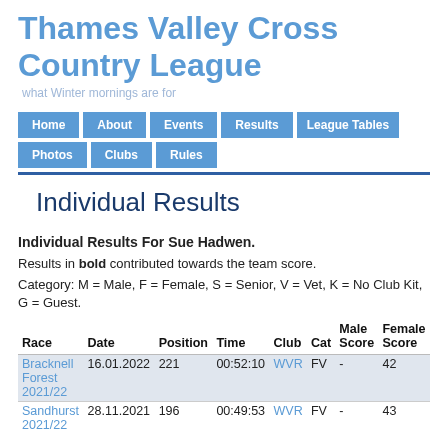Thames Valley Cross Country League
what Winter mornings are for
[Figure (screenshot): Navigation menu with buttons: Home, About, Events, Results, League Tables, Photos, Clubs, Rules]
Individual Results
Individual Results For Sue Hadwen.
Results in bold contributed towards the team score.
Category: M = Male, F = Female, S = Senior, V = Vet, K = No Club Kit, G = Guest.
| Race | Date | Position | Time | Club | Cat | Male Score | Female Score |
| --- | --- | --- | --- | --- | --- | --- | --- |
| Bracknell Forest 2021/22 | 16.01.2022 | 221 | 00:52:10 | WVR | FV | - | 42 |
| Sandhurst 2021/22 | 28.11.2021 | 196 | 00:49:53 | WVR | FV | - | 43 |